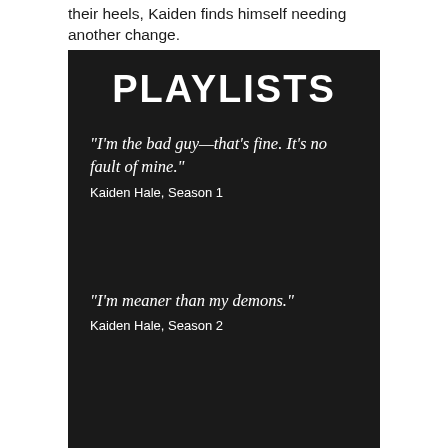their heels, Kaiden finds himself needing another change.
PLAYLISTS
"I'm the bad guy—that's fine. It's no fault of mine."
Kaiden Hale, Season 1
"I'm meaner than my demons."
Kaiden Hale, Season 2